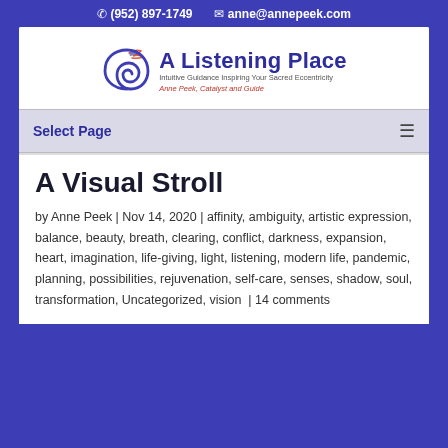☏ (952) 897-1749   ✉ anne@annepeek.com
[Figure (logo): A Listening Place logo with spiral icon, title 'A Listening Place', subtitle 'Intuitive Guidance Inspiring Your Sacred Eccentricity', byline 'Anne Peek, Catalyst and Guide']
Select Page
A Visual Stroll
by Anne Peek | Nov 14, 2020 | affinity, ambiguity, artistic expression, balance, beauty, breath, clearing, conflict, darkness, expansion, heart, imagination, life-giving, light, listening, modern life, pandemic, planning, possibilities, rejuvenation, self-care, senses, shadow, soul, transformation, Uncategorized, vision | 14 comments